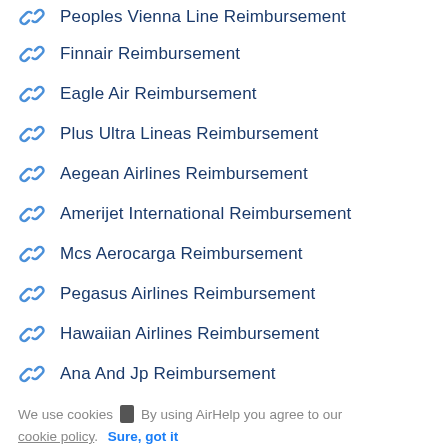Peoples Vienna Line Reimbursement
Finnair Reimbursement
Eagle Air Reimbursement
Plus Ultra Lineas Reimbursement
Aegean Airlines Reimbursement
Amerijet International Reimbursement
Mcs Aerocarga Reimbursement
Pegasus Airlines Reimbursement
Hawaiian Airlines Reimbursement
Ana And Jp Reimbursement
We use cookies 🍪 By using AirHelp you agree to our cookie policy. Sure, got it